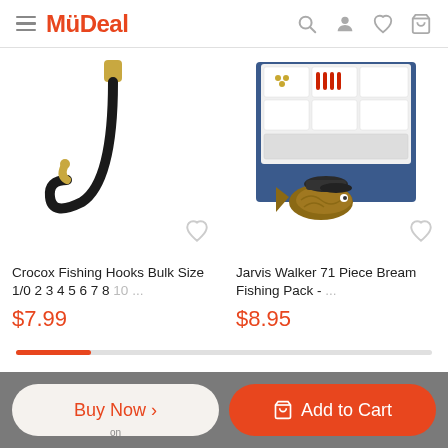MüDeal
[Figure (photo): Fishing hook with gold tip and black curve on white background]
[Figure (photo): Jarvis Walker 71 piece bream fishing pack in a tackle box organizer with fish lure]
Crocox Fishing Hooks Bulk Size 1/0 2 3 4 5 6 7 8 10 ...
$7.99
Jarvis Walker 71 Piece Bream Fishing Pack - ...
$8.95
Buy Now >
Add to Cart